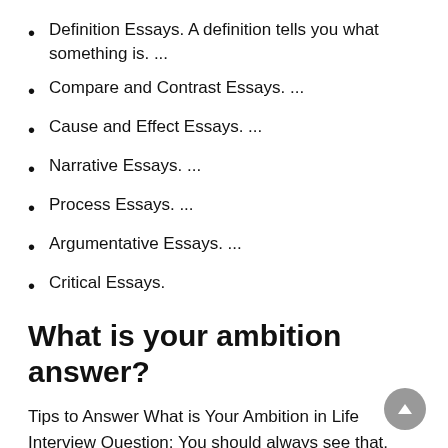Definition Essays. A definition tells you what something is. ...
Compare and Contrast Essays. ...
Cause and Effect Essays. ...
Narrative Essays. ...
Process Essays. ...
Argumentative Essays. ...
Critical Essays.
What is your ambition answer?
Tips to Answer What is Your Ambition in Life Interview Question: You should always see that, your aims and ambitions should focus and match the company's goals. This helps you achieve your goals and also will be